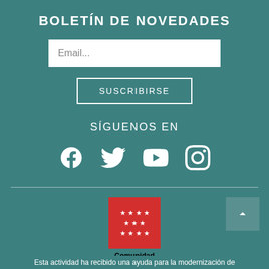BOLETÍN DE NOVEDADES
Email...
SUSCRIBIRSE
SÍGUENOS EN
[Figure (logo): Social media icons: Facebook, Twitter, YouTube, Instagram]
[Figure (logo): Comunidad de Madrid logo - red box with stars arranged in cross pattern, text 'Comunidad de Madrid' below]
Esta actividad ha recibido una ayuda para la modernización de